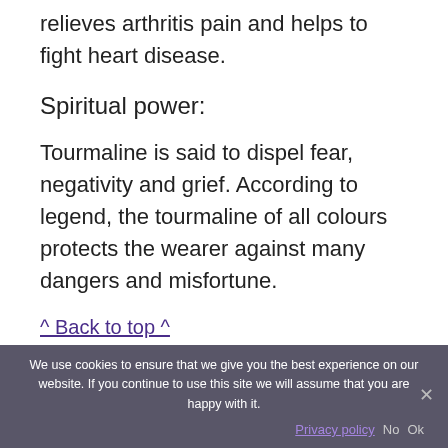relieves arthritis pain and helps to fight heart disease.
Spiritual power:
Tourmaline is said to dispel fear, negativity and grief. According to legend, the tourmaline of all colours protects the wearer against many dangers and misfortune.
^ Back to top ^
We use cookies to ensure that we give you the best experience on our website. If you continue to use this site we will assume that you are happy with it.
Privacy policy  No  Ok